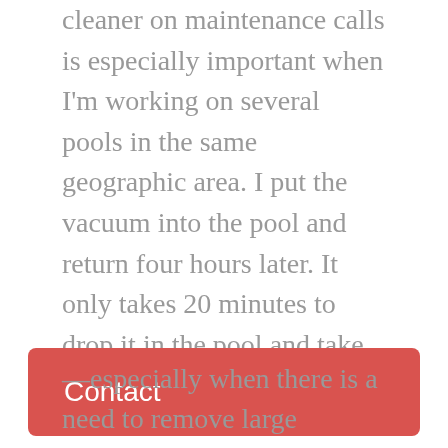cleaner on maintenance calls is especially important when I'm working on several pools in the same geographic area. I put the vacuum into the pool and return four hours later. It only takes 20 minutes to drop it in the pool and take it out, but I still get my full base rate for an hour of work.

“It would take at least an hour of work if I had to remain on-site to vacuum the pool and clean it manually (not to mention the need to backwash and clean the cartridge filters),” says Koch, who
[Figure (other): Red rounded rectangle button/banner with white text reading 'Contact']
—especially when there is a need to remove large